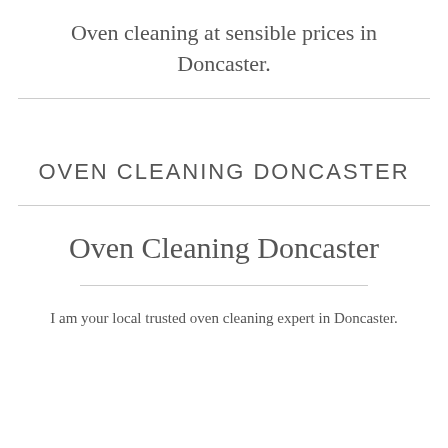Oven cleaning at sensible prices in Doncaster.
OVEN CLEANING DONCASTER
Oven Cleaning Doncaster
I am your local trusted oven cleaning expert in Doncaster.